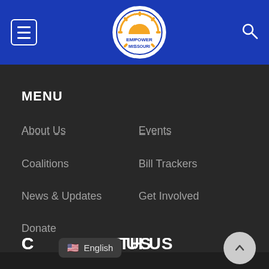[Figure (logo): Empower Missouri logo in circular badge with hamburger menu icon and search icon in blue header bar]
MENU
About Us
Events
Coalitions
Bill Trackers
News & Updates
Get Involved
Donate
C[ONNECT] WITH US
English